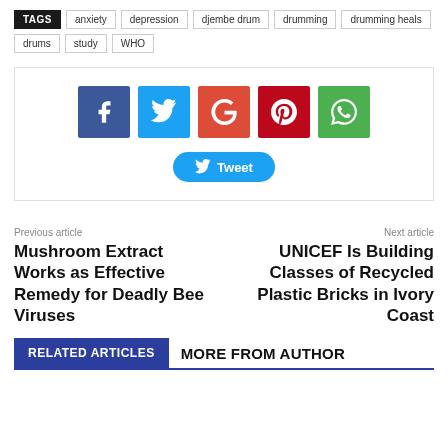TAGS  anxiety  depression  djembe drum  drumming  drumming heals  drums  study  WHO
[Figure (infographic): Social share buttons: Facebook (blue), Twitter (light blue), Google+ (red-orange), Pinterest (dark red), WhatsApp (green), and a Tweet button below]
Previous article
Mushroom Extract Works as Effective Remedy for Deadly Bee Viruses
Next article
UNICEF Is Building Classes of Recycled Plastic Bricks in Ivory Coast
RELATED ARTICLES  MORE FROM AUTHOR